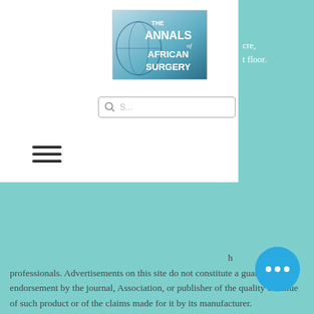[Figure (logo): Annals of African Surgery journal logo — globe graphic with journal name in bold white text on blue/teal background]
cre,
t floor.
[Figure (screenshot): Search bar with magnifying glass icon]
[Figure (other): Hamburger navigation menu icon (three horizontal lines)]
h
professionals. Advertisements on this site do not constitute a guarantee or endorsement by the journal, Association, or publisher of the quality or value of such product or of the claims made for it by its manufacturer.
Partners
Surgical Society of Kenya
African Journals Online
African Journals Partnership Program
Elsevier Foundation
Annals of Internal Medicine
Ethiopian Journal of Health Sciences
University of Nairobi